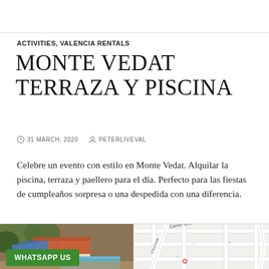ACTIVITIES, VALENCIA RENTALS
MONTE VEDAT TERRAZA Y PISCINA
31 MARCH, 2020   PETERLIVEVAL
Celebre un evento con estilo en Monte Vedat. Alquilar la piscina, terraza y paellero para el día. Perfecto para las fiestas de cumpleaños sorpresa o una despedida con una diferencia.
[Figure (photo): Aerial photo of Monte Vedat property showing pool, terrace with blue canopy, and tiled roof buildings surrounded by trees]
[Figure (map): Street map showing Carrer dels Pinzón and Churruca streets near Monte Vedat location]